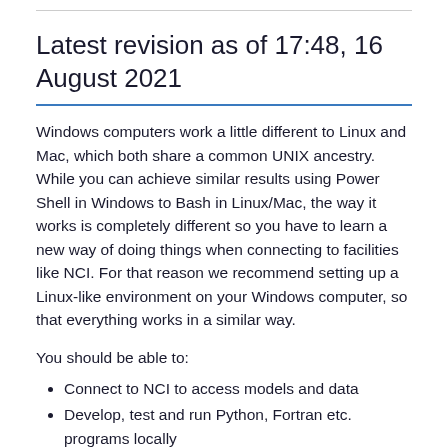Latest revision as of 17:48, 16 August 2021
Windows computers work a little different to Linux and Mac, which both share a common UNIX ancestry. While you can achieve similar results using Power Shell in Windows to Bash in Linux/Mac, the way it works is completely different so you have to learn a new way of doing things when connecting to facilities like NCI. For that reason we recommend setting up a Linux-like environment on your Windows computer, so that everything works in a similar way.
You should be able to:
Connect to NCI to access models and data
Develop, test and run Python, Fortran etc. programs locally
Use a common interface on your local computer and